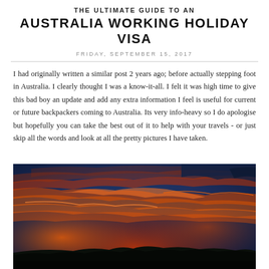THE ULTIMATE GUIDE TO AN AUSTRALIA WORKING HOLIDAY VISA
FRIDAY, SEPTEMBER 15, 2017
I had originally written a similar post 2 years ago; before actually stepping foot in Australia. I clearly thought I was a know-it-all. I felt it was high time to give this bad boy an update and add any extra information I feel is useful for current or future backpackers coming to Australia. Its very info-heavy so I do apologise but hopefully you can take the best out of it to help with your travels - or just skip all the words and look at all the pretty pictures I have taken.
[Figure (photo): Dramatic sunset sky with vivid red, orange and blue clouds over a dark landscape silhouette]